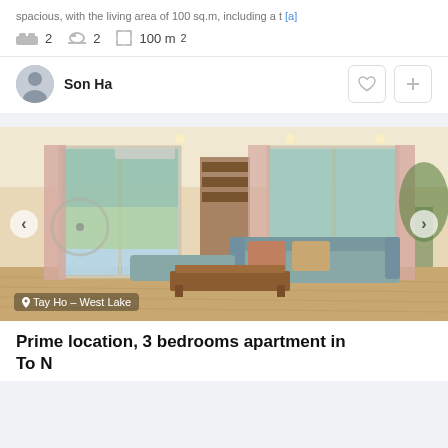spacious, with the living area of 100 sq.m, including a t [a]
2  2  100 m²
Son Ha
[Figure (photo): Interior photo of a bright, spacious apartment living room with large windows, teal sofa, wooden coffee table, and balcony access. Location badge reads 'Tay Ho - West Lake'.]
Prime location, 3 bedrooms apartment in To N